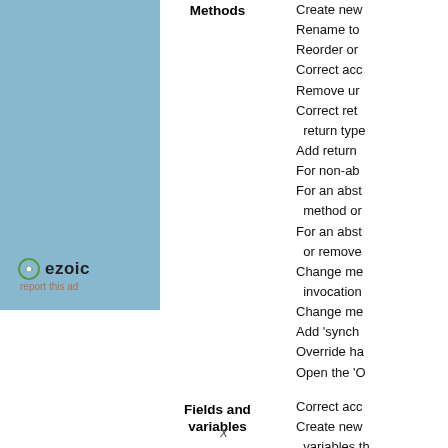[Figure (other): Blue rectangle panel on the left side with Ezoic logo and 'report this ad' text at bottom]
Methods
Create ne...
Rename to...
Reorder or...
Correct acc...
Remove ur...
Correct ret... return type...
Add return ...
For non-ab...
For an abst... method or ...
For an abst... or remove ...
Change me... invocation ...
Change me...
Add 'synch...
Override ha...
Open the 'O...
Fields and variables
Correct acc...
Create new... variables th...
Rename to...